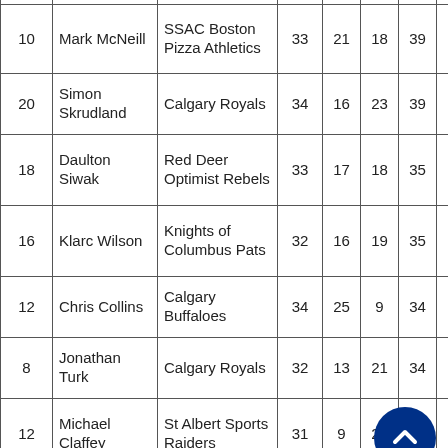| 10 | Mark McNeill | SSAC Boston Pizza Athletics | 33 | 21 | 18 | 39 | 5 |
| 20 | Simon Skrudland | Calgary Royals | 34 | 16 | 23 | 39 | 2 |
| 18 | Daulton Siwak | Red Deer Optimist Rebels | 33 | 17 | 18 | 35 | 1 |
| 16 | Klarc Wilson | Knights of Columbus Pats | 32 | 16 | 19 | 35 | 4 |
| 12 | Chris Collins | Calgary Buffaloes | 34 | 25 | 9 | 34 | 3 |
| 8 | Jonathan Turk | Calgary Royals | 32 | 13 | 21 | 34 | 2 |
| 12 | Michael Claffey | St Albert Sports Raiders | 31 | 9 | 25 | 34 | 2 |